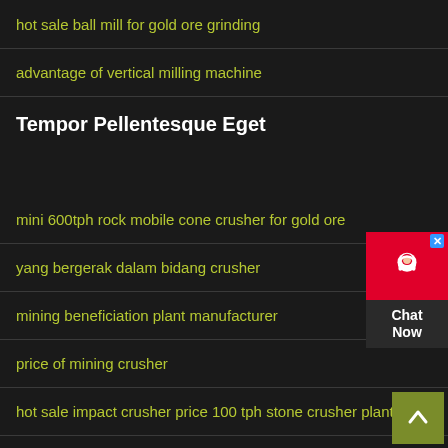hot sale ball mill for gold ore grinding
advantage of vertical milling machine
Tempor Pellentesque Eget
mini 600tph rock mobile cone crusher for gold ore
yang bergerak dalam bidang crusher
mining beneficiation plant manufacturer
price of mining crusher
hot sale impact crusher price 100 tph stone crusher plant